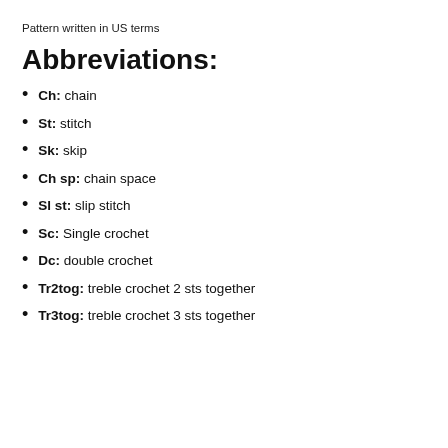Pattern written in US terms
Abbreviations:
Ch: chain
St: stitch
Sk: skip
Ch sp: chain space
Sl st: slip stitch
Sc: Single crochet
Dc: double crochet
Tr2tog: treble crochet 2 sts together
Tr3tog: treble crochet 3 sts together